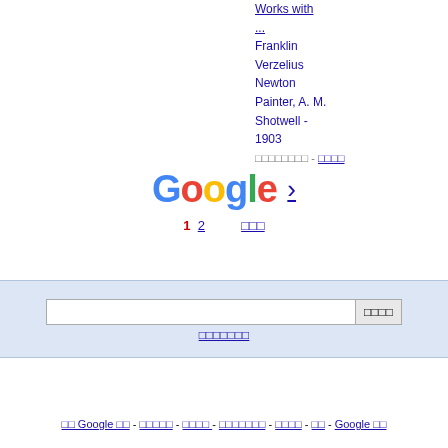Works with ...
Franklin Verzelius Newton Painter, A. M. Shotwell - 1903
□□□□□□□□ - □□□□
[Figure (logo): Google logo with colored letters G-o-o-g-l-e followed by a right arrow link]
1 2 □□□
□□□□□□□□
□□ Google □□ - □□□□□ - □□□□  - □□□□□□□ - □□□□ - □□ - Google □□